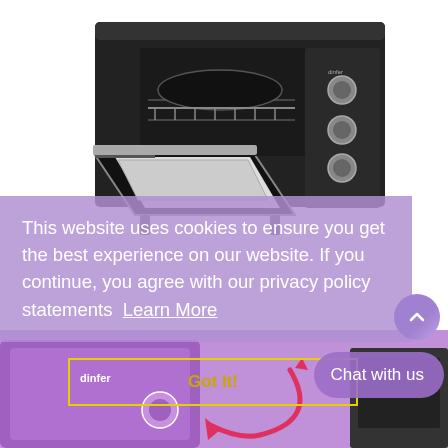[Figure (photo): Photo of a black countertop toaster oven with open door and silver trim, showing interior rack and baking pan, with control knobs on the right side.]
This website uses cookies to ensure you get the best experience on our website. If you continue, you agree with our privacy policy statements  Learn More
[Figure (other): Got It! button with yellow border outline and yellow text on purple/lavender semi-transparent background, partially overlapping with bottom appliance image.]
[Figure (photo): Purple kitchen appliance (oven/microwave) partially visible at the bottom of the page, with a curved pink/red arrow graphic overlaid pointing toward the appliance.]
[Figure (other): Chat with us button (rounded pill shape, purple) with scroll-to-top circular button above it (purple gradient with up chevron icon).]